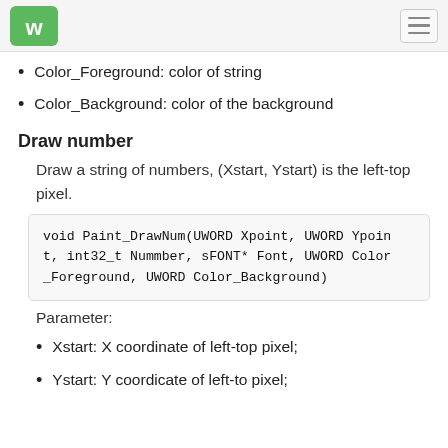WS logo and navigation
Color_Foreground: color of string
Color_Background: color of the background
Draw number
Draw a string of numbers, (Xstart, Ystart) is the left-top pixel.
void Paint_DrawNum(UWORD Xpoint, UWORD Ypoint, int32_t Nummber, sFONT* Font, UWORD Color_Foreground, UWORD Color_Background)
Parameter:
Xstart: X coordinate of left-top pixel;
Ystart: Y coordicate of left-to pixel;